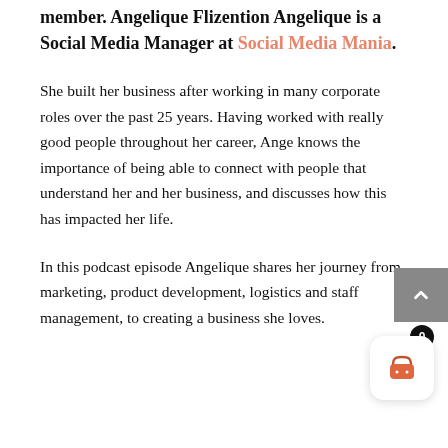member. Angelique Flizention Angelique is a Social Media Manager at Social Media Mania.
She built her business after working in many corporate roles over the past 25 years. Having worked with really good people throughout her career, Ange knows the importance of being able to connect with people that understand her and her business, and discusses how this has impacted her life.
In this podcast episode Angelique shares her journey from marketing, product development, logistics and staff management, to creating a business she loves.